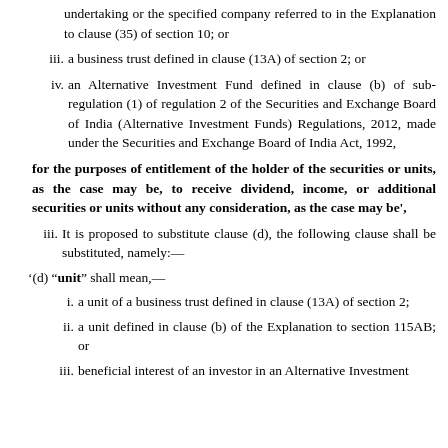undertaking or the specified company referred to in the Explanation to clause (35) of section 10; or
iii. a business trust defined in clause (13A) of section 2; or
iv. an Alternative Investment Fund defined in clause (b) of sub- regulation (1) of regulation 2 of the Securities and Exchange Board of India (Alternative Investment Funds) Regulations, 2012, made under the Securities and Exchange Board of India Act, 1992,
for the purposes of entitlement of the holder of the securities or units, as the case may be, to receive dividend, income, or additional securities or units without any consideration, as the case may be',
iii. It is proposed to substitute clause (d), the following clause shall be substituted, namely:—
'(d) "unit" shall mean,—
i. a unit of a business trust defined in clause (13A) of section 2;
ii. a unit defined in clause (b) of the Explanation to section 115AB; or
iii. beneficial interest of an investor in an Alternative Investment